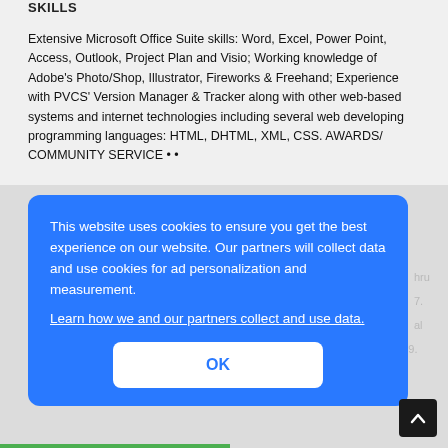SKILLS
Extensive Microsoft Office Suite skills: Word, Excel, Power Point, Access, Outlook, Project Plan and Visio; Working knowledge of Adobe’s Photo/Shop, Illustrator, Fireworks & Freehand; Experience with PVCS’ Version Manager & Tracker along with other web-based systems and internet technologies including several web developing programming languages: HTML, DHTML, XML, CSS. AWARDS/ COMMUNITY SERVICE • •
[Figure (screenshot): Cookie consent popup overlay with blue background. Text reads: 'This website uses cookies to ensure you get the best experience on our website. Our partners will collect data and use cookies for ad personalization and measurement.' with a hyperlink 'Learn how we and our partners collect and use data.' and an OK button.]